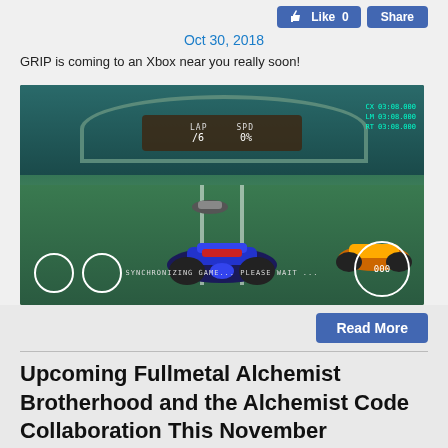[Figure (screenshot): Like 0 and Share buttons (Facebook-style social buttons)]
Oct 30, 2018
GRIP is coming to an Xbox near you really soon!
[Figure (screenshot): Screenshot from GRIP racing game showing futuristic cars on a track with HUD elements. Text reads SYNCHRONIZING GAME... PLEASE WAIT]
[Figure (screenshot): Read More button]
Upcoming Fullmetal Alchemist Brotherhood and the Alchemist Code Collaboration This November
by Aethyna
[Figure (screenshot): Like 0 and Share buttons (Facebook-style social buttons) for second article]